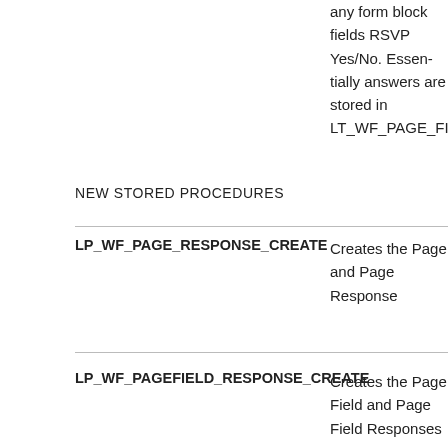any form block fields RSVP Yes/No. Essentially answers are stored in LT_WF_PAGE_FIEL
NEW STORED PROCEDURES
| Procedure | Description |
| --- | --- |
| LP_WF_PAGE_RESPONSE_CREATE | Creates the Page and Page Response |
| LP_WF_PAGEFIELD_RESPONSE_CREATE | Creates the Page Field and Page Field Responses |